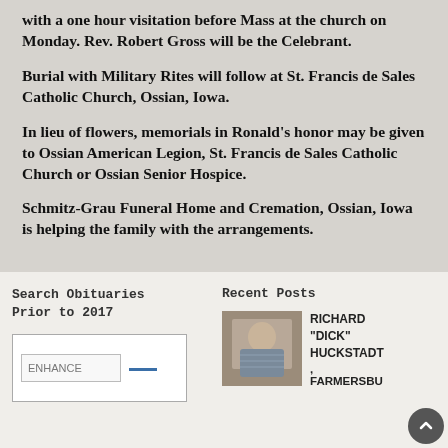with a one hour visitation before Mass at the church on Monday. Rev. Robert Gross will be the Celebrant.
Burial with Military Rites will follow at St. Francis de Sales Catholic Church, Ossian, Iowa.
In lieu of flowers, memorials in Ronald's honor may be given to Ossian American Legion, St. Francis de Sales Catholic Church or Ossian Senior Hospice.
Schmitz-Grau Funeral Home and Cremation, Ossian, Iowa is helping the family with the arrangements.
Search Obituaries Prior to 2017
Recent Posts
[Figure (photo): Photo of Richard 'Dick' Huckstadt, an older man in a plaid shirt]
RICHARD "DICK" HUCKSTADT
, FARMERSBU